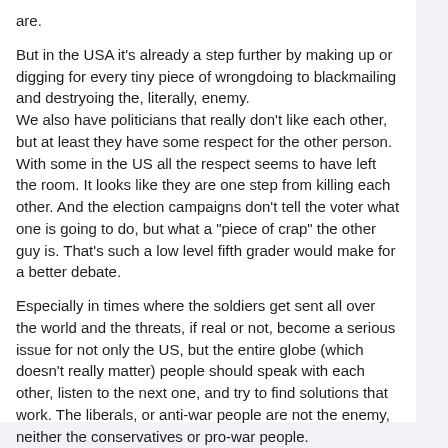are.
But in the USA it's already a step further by making up or digging for every tiny piece of wrongdoing to blackmailing and destryoing the, literally, enemy.
We also have politicians that really don't like each other, but at least they have some respect for the other person.
With some in the US all the respect seems to have left the room. It looks like they are one step from killing each other. And the election campaigns don't tell the voter what one is going to do, but what a "piece of crap" the other guy is. That's such a low level fifth grader would make for a better debate.
Especially in times where the soldiers get sent all over the world and the threats, if real or not, become a serious issue for not only the US, but the entire globe (which doesn't really matter) people should speak with each other, listen to the next one, and try to find solutions that work. The liberals, or anti-war people are not the enemy, neither the conservatives or pro-war people.
As long as you are fighting yourself, you can't win outside.